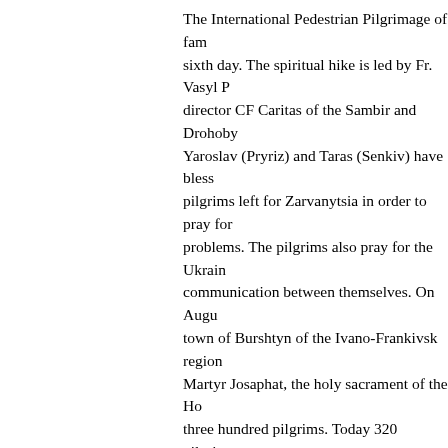The International Pedestrian Pilgrimage of fam sixth day. The spiritual hike is led by Fr. Vasyl P director CF Caritas of the Sambir and Drohoby Yaroslav (Pryriz) and Taras (Senkiv) have bless pilgrims left for Zarvanytsia in order to pray for problems. The pilgrims also pray for the Ukrain communication between themselves. On Augu town of Burshtyn of the Ivano-Frankivsk region Martyr Josaphat, the holy sacrament of the Ho three hundred pilgrims. Today 320 pilgrims we 152 km which is more than half way to Zarvany Selo of the Lviv region the pilgrims were able t “if the blind lead the blind, both will fall into the their eyes covered walked 10 km to reconstruc part representatives from 16 countries of the w Austria, Italy, Portugal, Russia, Canada, Spain Germany, Slovakia, Athens, USA, and from 6 r Frankivsk, Ternopil, Poltava, and Odesa. The y oldest is 79. “With great faith, hope, and love i where the Holy Mother of God waits for us, in c prayers and requests, gratitude and glory of ou